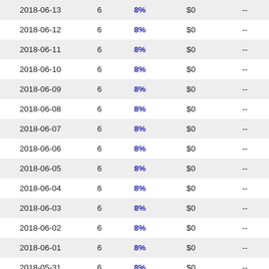| 2018-06-13 | 6 | 8% | $0 | -- |
| 2018-06-12 | 6 | 8% | $0 | -- |
| 2018-06-11 | 6 | 8% | $0 | -- |
| 2018-06-10 | 6 | 8% | $0 | -- |
| 2018-06-09 | 6 | 8% | $0 | -- |
| 2018-06-08 | 6 | 8% | $0 | -- |
| 2018-06-07 | 6 | 8% | $0 | -- |
| 2018-06-06 | 6 | 8% | $0 | -- |
| 2018-06-05 | 6 | 8% | $0 | -- |
| 2018-06-04 | 6 | 8% | $0 | -- |
| 2018-06-03 | 6 | 8% | $0 | -- |
| 2018-06-02 | 6 | 8% | $0 | -- |
| 2018-06-01 | 6 | 8% | $0 | -- |
| 2018-05-31 | 6 | 8% | $0 | -- |
| 2018-05-30 | 6 | 8% | $0 | -- |
| 2018-05-29 | 6 | 8% | $0 | -- |